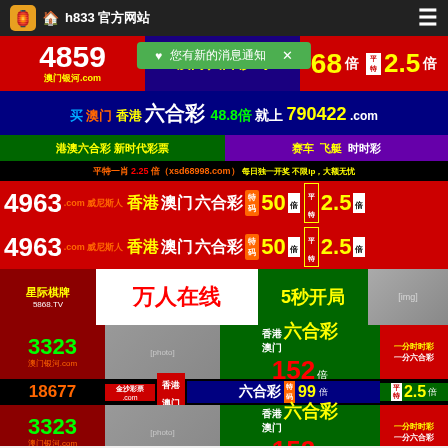h833 官方网站
[Figure (screenshot): Mobile app screenshot showing Chinese gambling/lottery advertisement banners. Multiple colorful banners advertising lottery sites including 4859澳门银河.com, 4963威尼斯人 香港澳门六合彩, 3323澳门银河.com, 18677金沙彩票.com with various multipliers like 2.5倍, 50倍, 152倍, 99倍]